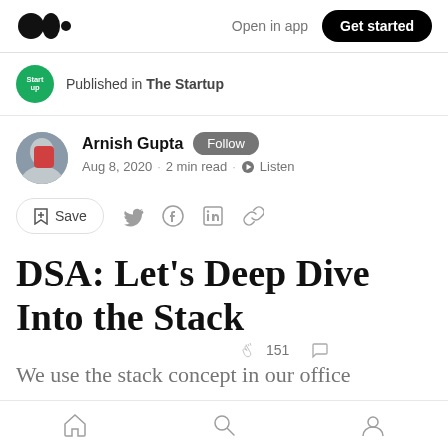Open in app | Get started
Published in The Startup
Arnish Gupta · Follow · Aug 8, 2020 · 2 min read · Listen
Save (social share icons)
DSA: Let's Deep Dive Into the Stack
151 (claps) (comments)
We use the stack concept in our office
Home · Search · Profile